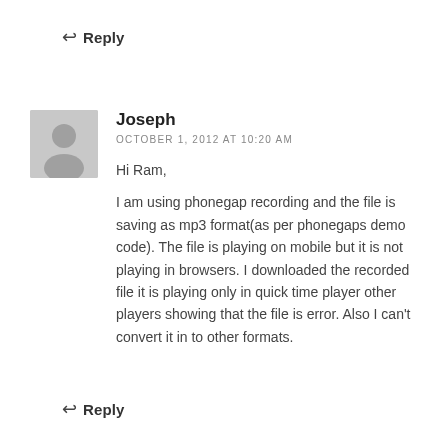↩ Reply
Joseph
OCTOBER 1, 2012 AT 10:20 AM

Hi Ram,

I am using phonegap recording and the file is saving as mp3 format(as per phonegaps demo code). The file is playing on mobile but it is not playing in browsers. I downloaded the recorded file it is playing only in quick time player other players showing that the file is error. Also I can't convert it in to other formats.
↩ Reply